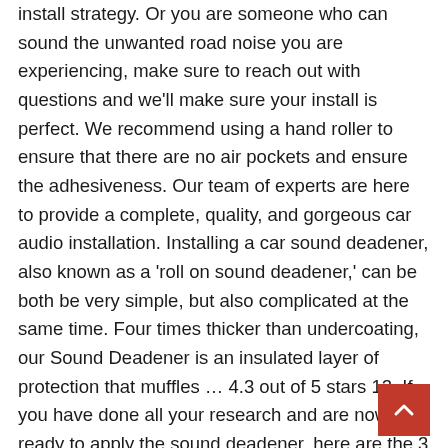install strategy. Or you are someone who can sound the unwanted road noise you are experiencing, make sure to reach out with questions and we'll make sure your install is perfect. We recommend using a hand roller to ensure that there are no air pockets and ensure the adhesiveness. Our team of experts are here to provide a complete, quality, and gorgeous car audio installation. Installing a car sound deadener, also known as a 'roll on sound deadener,' can be both be very simple, but also complicated at the same time. Four times thicker than undercoating, our Sound Deadener is an insulated layer of protection that muffles … 4.3 out of 5 stars 12. If you have done all your research and are now ready to apply the sound deadener, here are the 3 main steps to installing your car sound deadener material. Your top priority when applying a car sound